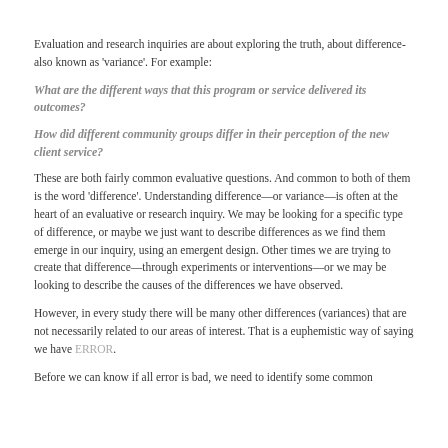Evaluation and research inquiries are about exploring the truth, about difference- also known as 'variance'. For example:
What are the different ways that this program or service delivered its outcomes?
How did different community groups differ in their perception of the new client service?
These are both fairly common evaluative questions. And common to both of them is the word 'difference'. Understanding difference—or variance—is often at the heart of an evaluative or research inquiry. We may be looking for a specific type of difference, or maybe we just want to describe differences as we find them emerge in our inquiry, using an emergent design. Other times we are trying to create that difference—through experiments or interventions—or we may be looking to describe the causes of the differences we have observed.
However, in every study there will be many other differences (variances) that are not necessarily related to our areas of interest. That is a euphemistic way of saying we have ERROR.
Before we can know if all error is bad, we need to identify some common